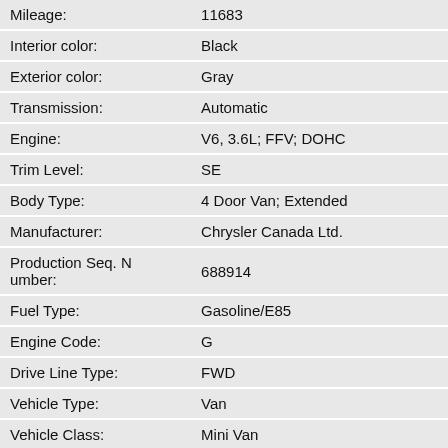| Field | Value |
| --- | --- |
| Mileage: | 11683 |
| Interior color: | Black |
| Exterior color: | Gray |
| Transmission: | Automatic |
| Engine: | V6, 3.6L; FFV; DOHC |
| Trim Level: | SE |
| Body Type: | 4 Door Van; Extended |
| Manufacturer: | Chrysler Canada Ltd. |
| Production Seq. Number: | 688914 |
| Fuel Type: | Gasoline/E85 |
| Engine Code: | G |
| Drive Line Type: | FWD |
| Vehicle Type: | Van |
| Vehicle Class: | Mini Van |